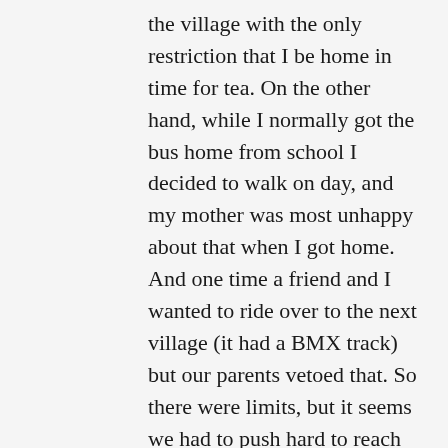the village with the only restriction that I be home in time for tea. On the other hand, while I normally got the bus home from school I decided to walk on day, and my mother was most unhappy about that when I got home. And one time a friend and I wanted to ride over to the next village (it had a BMX track) but our parents vetoed that. So there were limits, but it seems we had to push hard to reach them (either by breaking an expected timetable, or trying to go too far afield).
It seems to be, then, that those born in the '80s perhaps straddle the period between the looser fringe childhood of the '70s and...